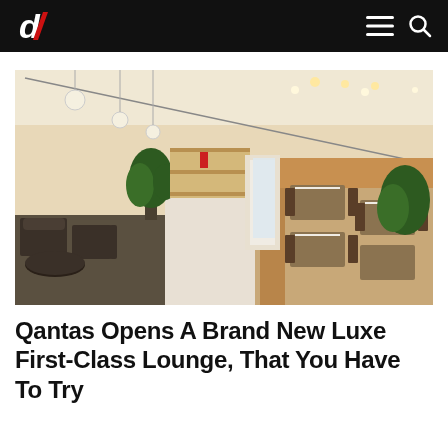dl (logo) — navigation bar with menu and search icons
[Figure (photo): Interior of a luxury airport lounge showing a long corridor with warm wood-panelled walls, set dining tables with chairs on the right, lounge chairs and round tables on the left, pendant globe lights hanging from the ceiling, and large windows at the far end.]
Qantas Opens A Brand New Luxe First-Class Lounge, That You Have To Try